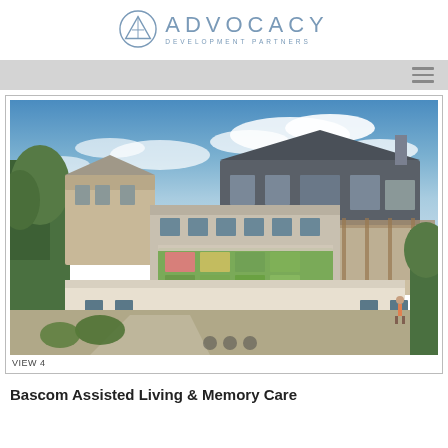[Figure (logo): Advocacy Development Partners logo with triangular icon and stylized text]
[Figure (photo): Architectural rendering of Bascom Assisted Living & Memory Care building complex, aerial view showing rooftop garden with colorful plantings, outdoor patio areas, and multi-story structures against a blue sky. Caption reads VIEW 4.]
VIEW 4
Bascom Assisted Living & Memory Care